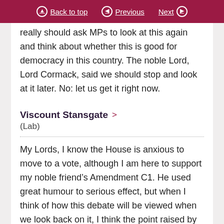Back to top | Previous | Next
really should ask MPs to look at this again and think about whether this is good for democracy in this country. The noble Lord, Lord Cormack, said we should stop and look at it later. No: let us get it right now.
Viscount Stansgate
(Lab)
My Lords, I know the House is anxious to move to a vote, although I am here to support my noble friend’s Amendment C1. He used great humour to serious effect, but when I think of how this debate will be viewed when we look back on it, I think the point raised by the noble Lord, Lord Cormack, will be